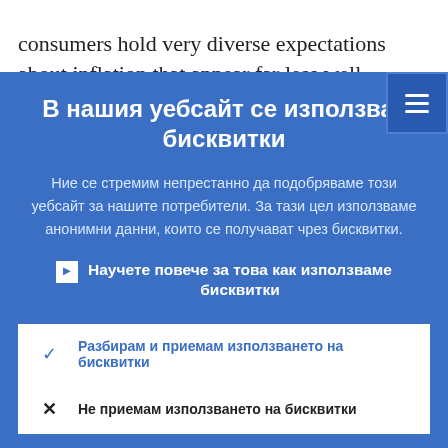consumers hold very diverse expectations about inflation that appear far less well
В нашия уебсайт се използват бисквитки
Ние се стремим непрестанно да подобряваме този уебсайт за нашите потребители. За тази цел използваме анонимни данни, които се получават чрез бисквитки.
Научете повече за това как използваме бисквитки
Разбирам и приемам използването на бисквитки
Не приемам използването на бисквитки